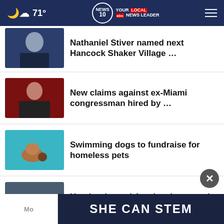71° NEWS10 YOUR LOCAL NEWS LEADER
Nathaniel Stiver named next Hancock Shaker Village …
New claims against ex-Miami congressman hired by …
Swimming dogs to fundraise for homeless pets
Here's where airfare has increased the most: report
Son of Egg restaurant announces Back 2 School Block …
[Figure (screenshot): SHE CAN STEM advertisement banner]
Mo